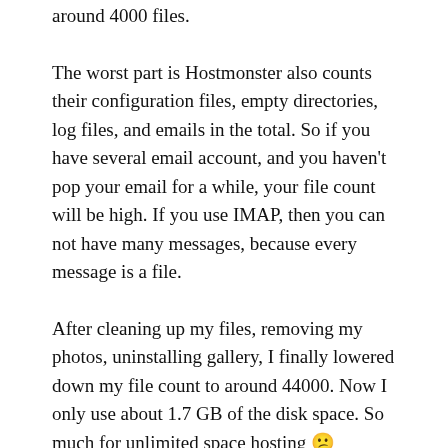around 4000 files.
The worst part is Hostmonster also counts their configuration files, empty directories, log files, and emails in the total. So if you have several email account, and you haven’t pop your email for a while, your file count will be high. If you use IMAP, then you can not have many messages, because every message is a file.
After cleaning up my files, removing my photos, uninstalling gallery, I finally lowered down my file count to around 44000. Now I only use about 1.7 GB of the disk space. So much for unlimited space hosting 😕